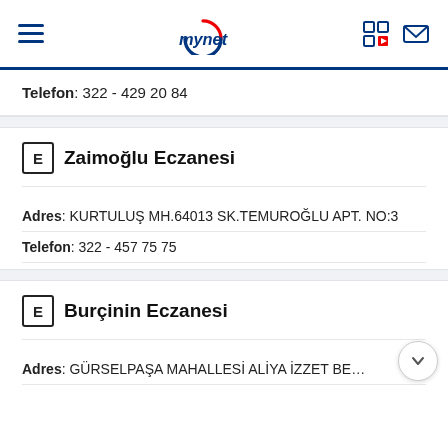mynet header navigation
Telefon: 322 - 429 20 84
E Zaimoğlu Eczanesi
Adres: KURTULUŞ MH.64013 SK.TEMUROĞLU APT. NO:3
Telefon: 322 - 457 75 75
E Burçinin Eczanesi
Adres: GÜRSELPAŞA MAHALLESİ ALİYA İZZET BEGOVİÇ